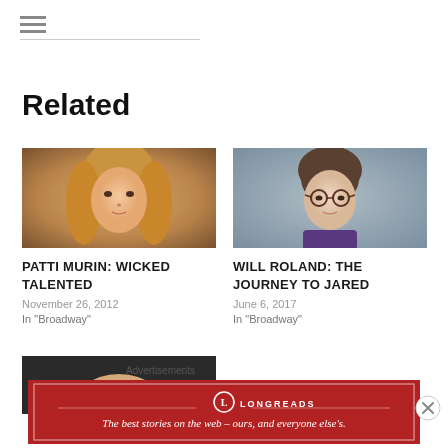≡
Related
[Figure (photo): Headshot of Patti Murin, a blonde woman]
PATTI MURIN: WICKED TALENTED
November 26, 2012
In "Broadway"
[Figure (photo): Headshot of Will Roland, a man with glasses and brown hair]
WILL ROLAND: THE JOURNEY TO JARED
June 6, 2017
In "Broadway"
[Figure (photo): Partial headshot of a third person, partially cropped]
Advertisements
[Figure (logo): Longreads advertisement banner: The best stories on the web – ours, and everyone else's.]